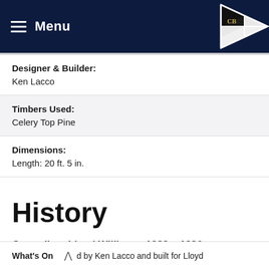Menu
Designer & Builder:
Ken Lacco
Timbers Used:
Celery Top Pine
Dimensions:
Length: 20 ft. 5 in.
History
Custodian: Lloyd Williams; 1983 – 1986
What's On  ∧  d by Ken Lacco and built for Lloyd  Charlie Young in 1982 in Pleinswrie